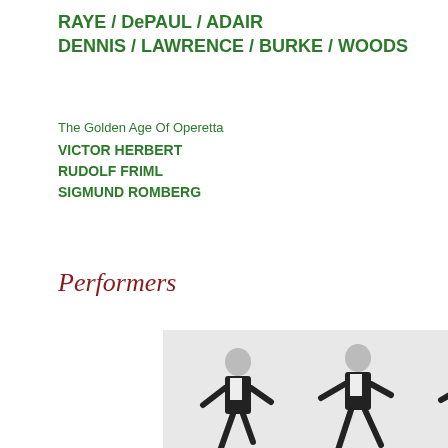RAYE / DePAUL / ADAIR
DENNIS / LAWRENCE / BURKE / WOODS
The Golden Age Of Operetta
VICTOR HERBERT
RUDOLF FRIML
SIGMUND ROMBERG
Performers
[Figure (photo): Black and white photograph of dancers in formal tuxedos performing energetic dance moves, arranged in two rows showing multiple poses]